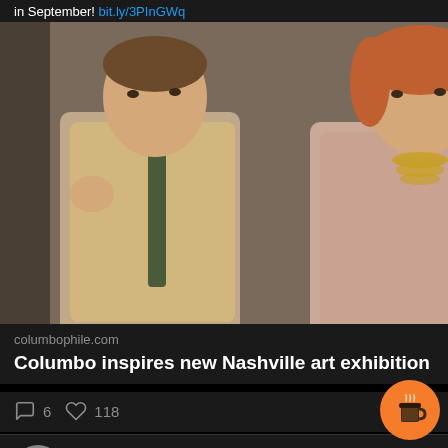in September! bit.ly/3PInGWq
[Figure (photo): A man and woman in 1970s-style clothing, man wearing a beige/tan jacket with a dark tie gesturing with his hand, woman with auburn/red hair wearing a pink jacket and gold necklace]
columbophile.com
Columbo inspires new Nashville art exhibition
6  118
Lieutenant C... @col... · Aug 21
Happy birthday to the always fabulous @KimCattrall, who turns 66 today. Kim starred as Joanne Nicholls in 1978 #Columbo adventure 'How to